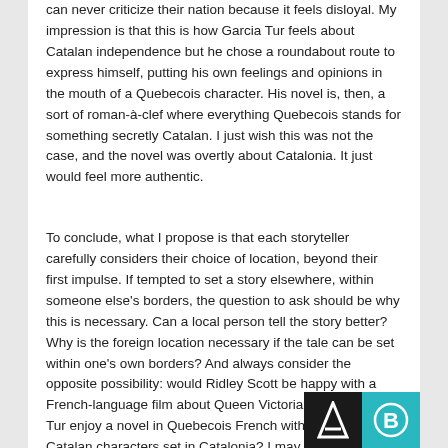can never criticize their nation because it feels disloyal. My impression is that this is how Garcia Tur feels about Catalan independence but he chose a roundabout route to express himself, putting his own feelings and opinions in the mouth of a Quebecois character. His novel is, then, a sort of roman-à-clef where everything Quebecois stands for something secretly Catalan. I just wish this was not the case, and the novel was overtly about Catalonia. It just would feel more authentic.
To conclude, what I propose is that each storyteller carefully considers their choice of location, beyond their first impulse. If tempted to set a story elsewhere, within someone else's borders, the question to ask should be why this is necessary. Can a local person tell the story better? Why is the foreign location necessary if the tale can be set within one's own borders? And always consider the opposite possibility: would Ridley Scott be happy with a French-language film about Queen Victoria?, would Garcia Tur enjoy a novel in Quebecois French with a cast of all-Catalan characters set in Catalonia? I may be limiting the scope of much fiction, historical or